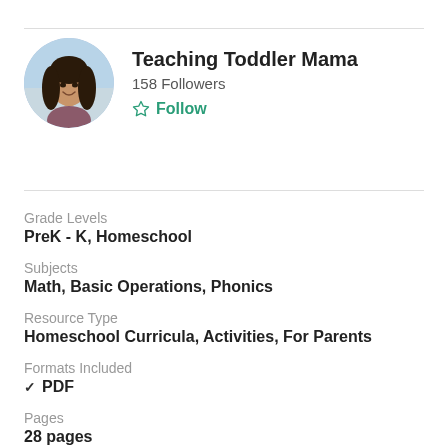[Figure (photo): Circular profile photo of a woman with long dark hair, smiling, outdoors background]
Teaching Toddler Mama
158 Followers
Follow
Grade Levels
PreK - K, Homeschool
Subjects
Math, Basic Operations, Phonics
Resource Type
Homeschool Curricula, Activities, For Parents
Formats Included
✓ PDF
Pages
28 pages